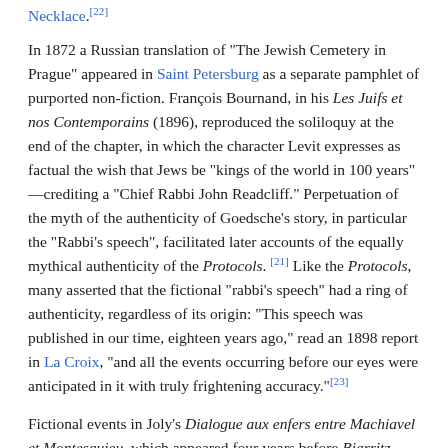Necklace.[22]
In 1872 a Russian translation of "The Jewish Cemetery in Prague" appeared in Saint Petersburg as a separate pamphlet of purported non-fiction. François Bournand, in his Les Juifs et nos Contemporains (1896), reproduced the soliloquy at the end of the chapter, in which the character Levit expresses as factual the wish that Jews be "kings of the world in 100 years" —crediting a "Chief Rabbi John Readcliff." Perpetuation of the myth of the authenticity of Goedsche's story, in particular the "Rabbi's speech", facilitated later accounts of the equally mythical authenticity of the Protocols. [21] Like the Protocols, many asserted that the fictional "rabbi's speech" had a ring of authenticity, regardless of its origin: "This speech was published in our time, eighteen years ago," read an 1898 report in La Croix, "and all the events occurring before our eyes were anticipated in it with truly frightening accuracy."[23]
Fictional events in Joly's Dialogue aux enfers entre Machiavel et Montesquieu, which appeared four years before Biarritz, may well have been the inspiration for Goedsche's fictional midnight meeting, and details of the outcome of the supposed plot. Goedsche's